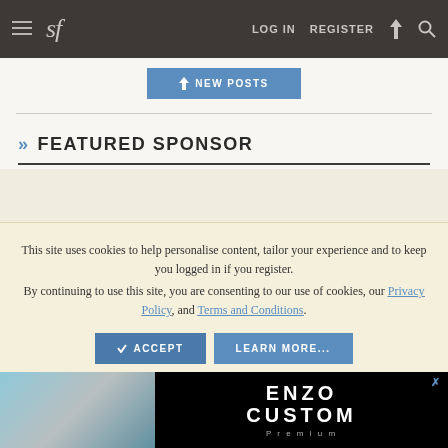sf   LOG IN   REGISTER
NEW POSTS
» FEATURED SPONSOR
This site uses cookies to help personalise content, tailor your experience and to keep you logged in if you register.
By continuing to use this site, you are consenting to our use of cookies, our Privacy Policy, and Terms and Conditions.
ACCEPT   LEARN MORE...
[Figure (photo): Advertisement banner showing a fabric photo on the left and 'ENZO CUSTOM' text on black background on the right]